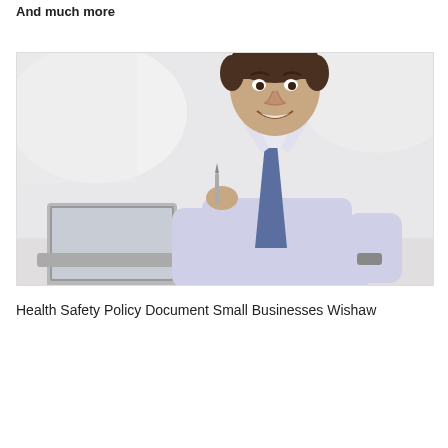And much more
[Figure (photo): A smiling businessman in a white dress shirt and blue tie, sitting at a desk with a laptop, holding a pen, in a bright office environment.]
Health Safety Policy Document Small Businesses Wishaw